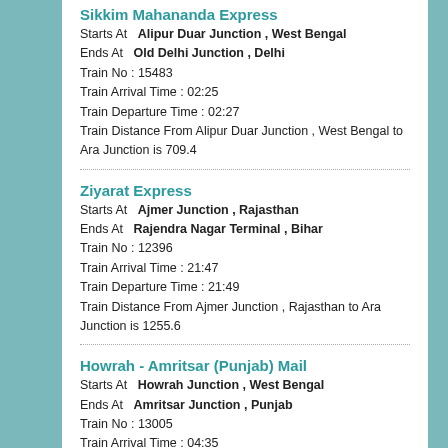Sikkim Mahananda Express
Starts At   Alipur Duar Junction , West Bengal
Ends At   Old Delhi Junction , Delhi
Train No : 15483
Train Arrival Time : 02:25
Train Departure Time : 02:27
Train Distance From Alipur Duar Junction , West Bengal to Ara Junction is 709.4
Ziyarat Express
Starts At   Ajmer Junction , Rajasthan
Ends At   Rajendra Nagar Terminal , Bihar
Train No : 12396
Train Arrival Time : 21:47
Train Departure Time : 21:49
Train Distance From Ajmer Junction , Rajasthan to Ara Junction is 1255.6
Howrah - Amritsar (Punjab) Mail
Starts At   Howrah Junction , West Bengal
Ends At   Amritsar Junction , Punjab
Train No : 13005
Train Arrival Time : 04:35
Train Departure Time : 04:40
Train Distance From Howrah Junction , West Bengal to Ara Junction is 580.6
Magadh Express
Starts At   Islampur , Bihar
Ends At   New Delhi , Delhi
Train No : 20801